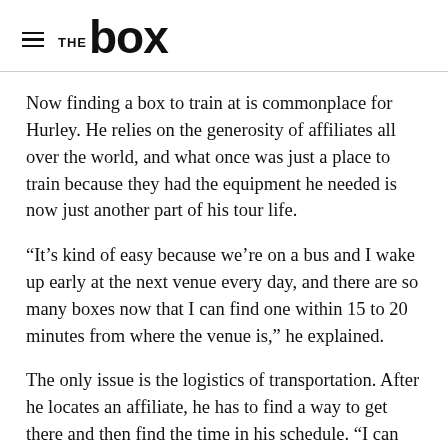THE BOX
Now finding a box to train at is commonplace for Hurley. He relies on the generosity of affiliates all over the world, and what once was just a place to train because they had the equipment he needed is now just another part of his tour life.
“It’s kind of easy because we’re on a bus and I wake up early at the next venue every day, and there are so many boxes now that I can find one within 15 to 20 minutes from where the venue is,” he explained.
The only issue is the logistics of transportation. After he locates an affiliate, he has to find a way to get there and then find the time in his schedule. “I can get an Uber or a runner to take me,” he said. “It’s kind of nice because most boxes usually have classes at 10, 11 or 12, and that’s perfect for me because